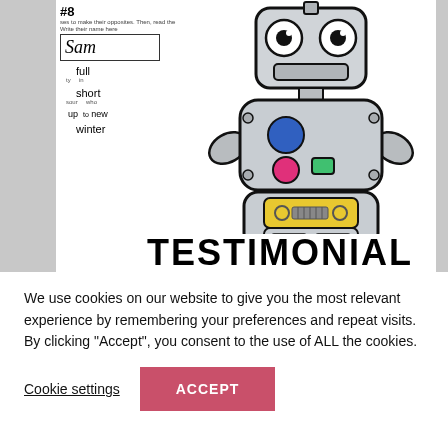[Figure (illustration): Educational worksheet and a hand-drawn colored robot illustration. The worksheet shows '#8' header, a name box with 'Sam' written in it, and words: full, short, sour, up, new, winter. The robot has big eyes, a body with blue and pink circles and a green square, yellow panel with circles, blue grid squares, and wrench-like hands. The word 'TESTIMONIAL' appears in large bold text at the bottom of the image area.]
We use cookies on our website to give you the most relevant experience by remembering your preferences and repeat visits. By clicking "Accept", you consent to the use of ALL the cookies.
Cookie settings
ACCEPT